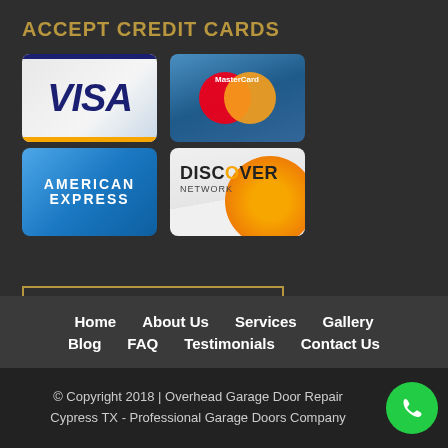ACCEPT CREDIT CARDS
[Figure (logo): Four credit card logos: Visa, MasterCard, American Express, Discover Network arranged in a 2x2 grid]
CALL NOW
Home   About Us   Services   Gallery   Blog   FAQ   Testimonials   Contact Us
© Copyright 2018 | Overhead Garage Door Repair Cypress TX - Professional Garage Doors Company